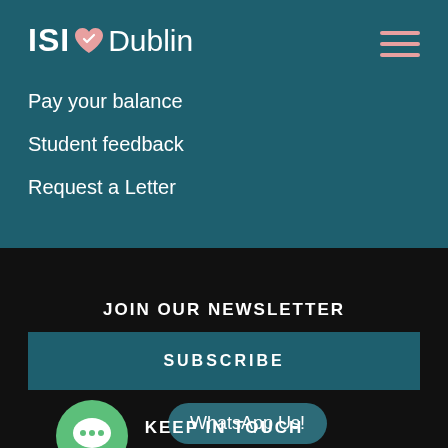[Figure (logo): ISI Dublin logo with heart icon]
Pay your balance
Student feedback
Request a Letter
JOIN OUR NEWSLETTER
SUBSCRIBE
[Figure (illustration): Green WhatsApp chat bubble icon with ellipsis]
WhatsApp Us!
KEEP IN TOUCH